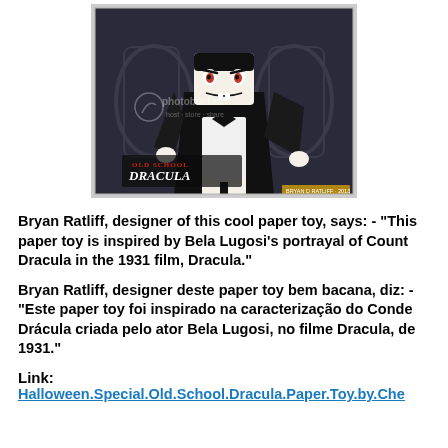[Figure (photo): A paper toy figure of Count Dracula styled in 'Old School Dracula' design, photographed against a dark ornate background. The paper craft figure has a black cape, white shirt, and a stylized Dracula face with fangs. A 'photobucket' watermark is visible. The image has 'OLD SCHOOL DRACULA' text branding in the lower left.]
Bryan Ratliff, designer of this cool paper toy, says: - "This paper toy is inspired by Bela Lugosi's portrayal of Count Dracula in the 1931 film, Dracula."
Bryan Ratliff, designer deste paper toy bem bacana, diz: - "Este paper toy foi inspirado na caracterização do Conde Drácula criada pelo ator Bela Lugosi, no filme Dracula, de 1931."
Link: Halloween.Special.Old.School.Dracula.Paper.Toy.by.Che